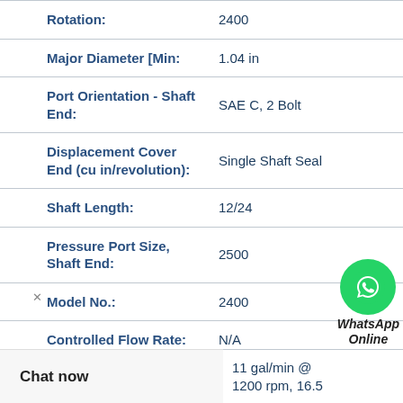| Property | Value |
| --- | --- |
| Rotation: | 2400 |
| Major Diameter [Min: | 1.04 in |
| Port Orientation - Shaft End: | SAE C, 2 Bolt |
| Displacement Cover End (cu in/revolution): | Single Shaft Seal |
| Shaft Length: | 12/24 |
| Pressure Port Size, Shaft End: | 2500 |
| Model No.: | 2400 |
| Controlled Flow Rate: | N/A |
|  | 11 gal/min @ 1200 rpm, 16.5 |
[Figure (logo): WhatsApp green circle icon with phone handset, labeled WhatsApp Online]
Chat now